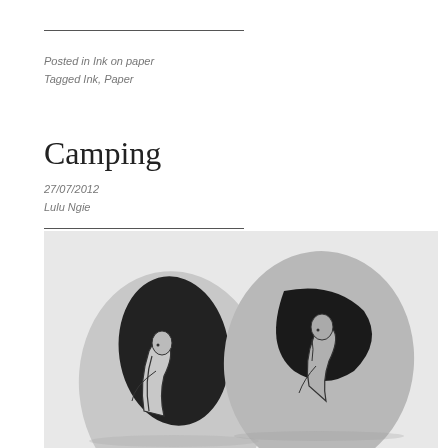Posted in Ink on paper
Tagged Ink, Paper
Camping
27/07/2012
Lulu Ngie
[Figure (photo): Black and white photograph of two egg or pebble shaped objects with drawn figures of seated women in ink, on a light background.]